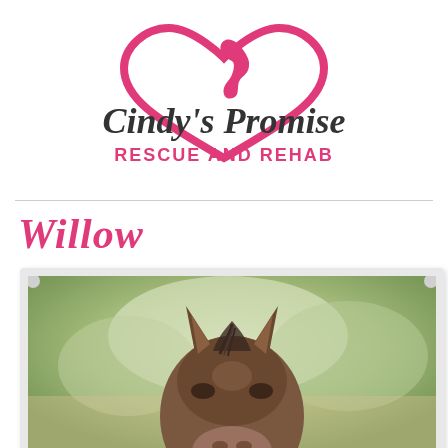[Figure (logo): Cindy's Promise Rescue and Rehab logo: pink heart with horse silhouette, stylized cursive text 'Cindy's Promise' and 'RESCUE AND REHAB' below]
Willow
[Figure (photo): Close-up front-facing photograph of a horse's head with pointed ears, brown coat with dark mane, against a blurred green outdoor background]